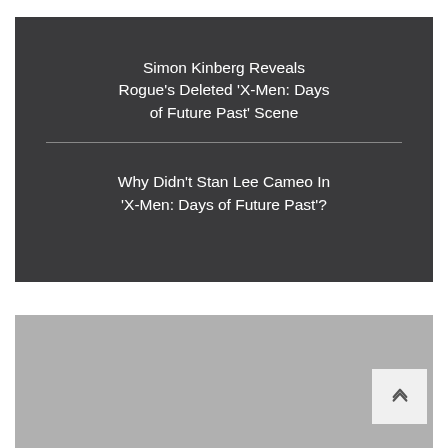Simon Kinberg Reveals Rogue's Deleted 'X-Men: Days of Future Past' Scene
Why Didn't Stan Lee Cameo In 'X-Men: Days of Future Past'?
[Figure (other): Gray placeholder image panel]